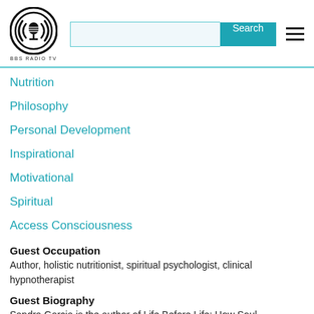BBS RADIO TV
Nutrition
Philosophy
Personal Development
Inspirational
Motivational
Spiritual
Access Consciousness
Guest Occupation
Author, holistic nutritionist, spiritual psychologist, clinical hypnotherapist
Guest Biography
Sandra Garcia is the author of Life Before Life: How Soul...